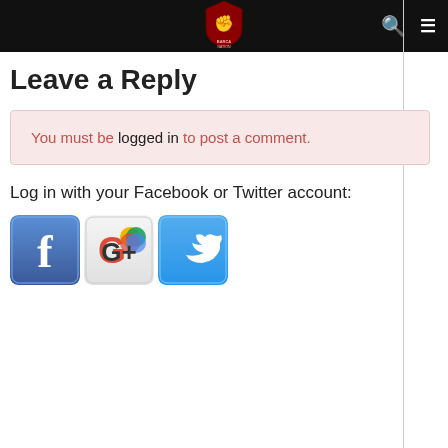Navigation bar with logo, search and menu icons
Leave a Reply
You must be logged in to post a comment.
Log in with your Facebook or Twitter account:
[Figure (logo): Social login icons: Facebook (blue F), Google+ (colorful G), Twitter (blue bird)]